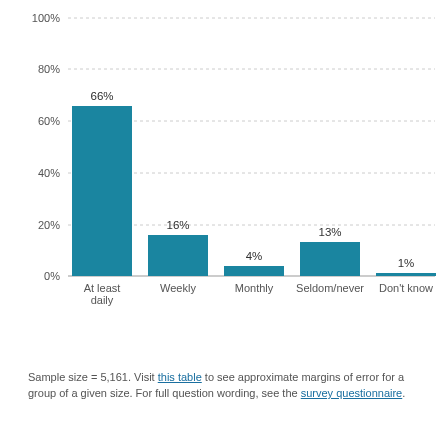[Figure (bar-chart): ]
Sample size = 5,161. Visit this table to see approximate margins of error for a group of a given size. For full question wording, see the survey questionnaire.